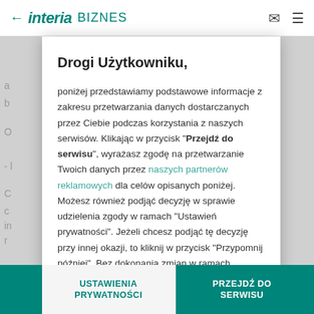← interia BIZNES
Drogi Użytkowniku,
poniżej przedstawiamy podstawowe informacje z zakresu przetwarzania danych dostarczanych przez Ciebie podczas korzystania z naszych serwisów. Klikając w przycisk "Przejdź do serwisu", wyrażasz zgodę na przetwarzanie Twoich danych przez naszych partnerów reklamowych dla celów opisanych poniżej. Możesz również podjąć decyzję w sprawie udzielenia zgody w ramach "Ustawień prywatności". Jeżeli chcesz podjąć tę decyzję przy innej okazji, to kliknij w przycisk "Przypomnij później". Bez dokonania zmian w ramach "Ustawień prywatności", Twoje dane
USTAWIENIA PRYWATNOŚCI
PRZEJDŹ DO SERWISU